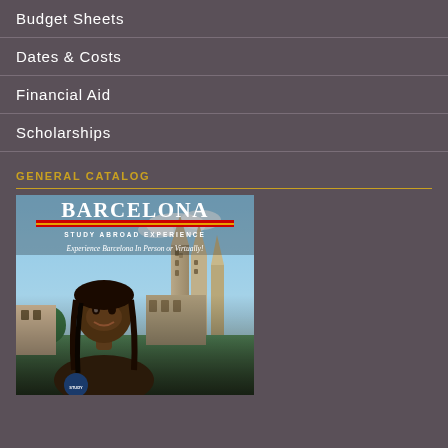Budget Sheets
Dates & Costs
Financial Aid
Scholarships
GENERAL CATALOG
[Figure (photo): Barcelona Study Abroad Experience catalog cover featuring a smiling student in front of the Sagrada Familia with text 'BARCELONA STUDY ABROAD EXPERIENCE - Experience Barcelona In Person or Virtually!']